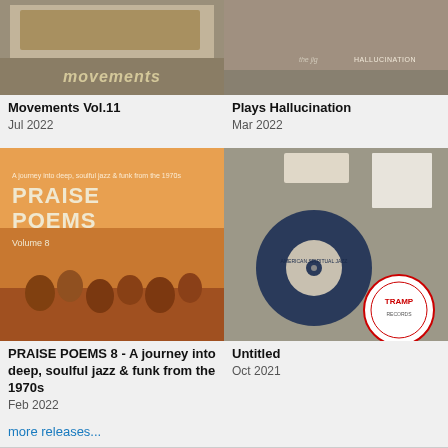[Figure (photo): Album cover for Movements Vol.11 - partially visible top portion of the album art]
[Figure (photo): Album cover for Plays Hallucination - partially visible top portion with text 'HALLUCINATION']
Movements Vol.11
Jul 2022
Plays Hallucination
Mar 2022
[Figure (photo): Album cover for PRAISE POEMS Volume 8 - showing sunflower field at sunset with text overlay]
[Figure (photo): Album cover for Untitled - showing a record sleeve with vinyl record and TRAMP label sticker]
PRAISE POEMS 8 - A journey into deep, soulful jazz & funk from the 1970s
Feb 2022
Untitled
Oct 2021
more releases...